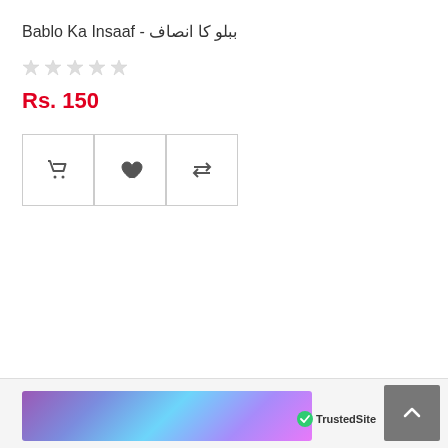Bablo Ka Insaaf - ببلو کا انصاف
★★★★★ (empty/grey stars rating)
Rs. 150
[Figure (screenshot): Three icon buttons: shopping cart, heart/wishlist, and compare arrows]
[Figure (screenshot): Scroll to top button (dark grey, upward chevron)]
[Figure (screenshot): Colorful gradient banner image at bottom left]
TrustedSite